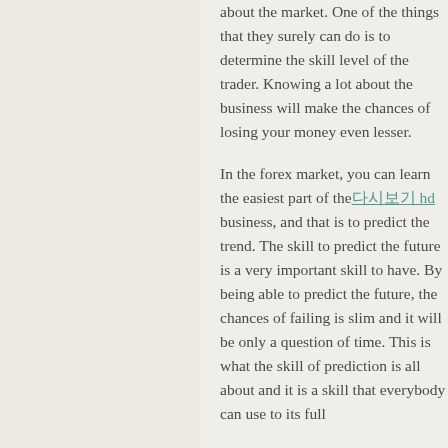about the market. One of the things that they surely can do is to determine the skill level of the trader. Knowing a lot about the business will make the chances of losing your money even lesser.
In the forex market, you can learn the easiest part of the 다시보기 hd business, and that is to predict the trend. The skill to predict the future is a very important skill to have. By being able to predict the future, the chances of failing is slim and it will be only a question of time. This is what the skill of prediction is all about and it is a skill that everybody can use to its full